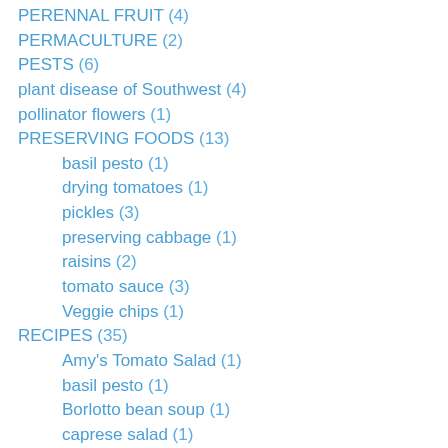PERENNAL FRUIT (4)
PERMACULTURE (2)
PESTS (6)
plant disease of Southwest (4)
pollinator flowers (1)
PRESERVING FOODS (13)
basil pesto (1)
drying tomatoes (1)
pickles (3)
preserving cabbage (1)
raisins (2)
tomato sauce (3)
Veggie chips (1)
RECIPES (35)
Amy's Tomato Salad (1)
basil pesto (1)
Borlotto bean soup (1)
caprese salad (1)
cassoulet (2)
Crispy Kale Chips (1)